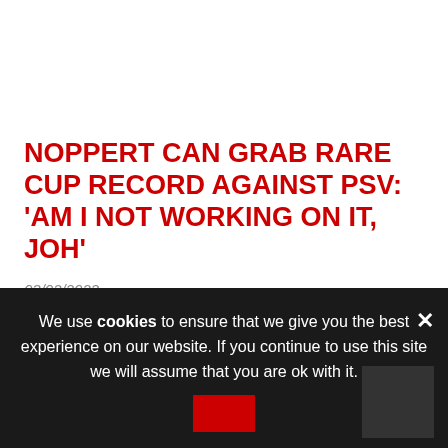NOPPERT CAN GRAB RARE CUP RECORD AGAINST PSV: 'AM I NOT WORKING ON IT, JOH'
03/02/2022
Andries Noppert has recently become the first Goalkeeper of Go Ahead Eagles, but has already won all the cup games so far. The tree-long Fries received …
Football
We use cookies to ensure that we give you the best experience on our website. If you continue to use this site we will assume that you are ok with it.